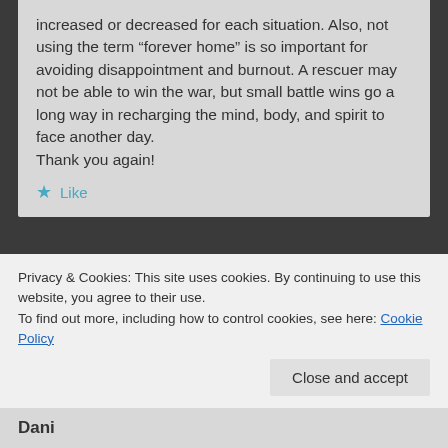increased or decreased for each situation. Also, not using the term “forever home” is so important for avoiding disappointment and burnout. A rescuer may not be able to win the war, but small battle wins go a long way in recharging the mind, body, and spirit to face another day.
Thank you again!
Like
Patricia Sund
May 18, 2012 at 10:57 am
My pleasure and thanks for your insightful
Privacy & Cookies: This site uses cookies. By continuing to use this website, you agree to their use.
To find out more, including how to control cookies, see here: Cookie Policy
Close and accept
Dani